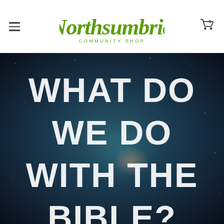Northsumbria Community Shop — navigation header with hamburger menu, logo, and cart icon
[Figure (photo): Book cover with text 'WHAT DO WE DO WITH THE BIBLE?' displayed in large white bold letters on a dark cosmic/space background with teal and purple hues]